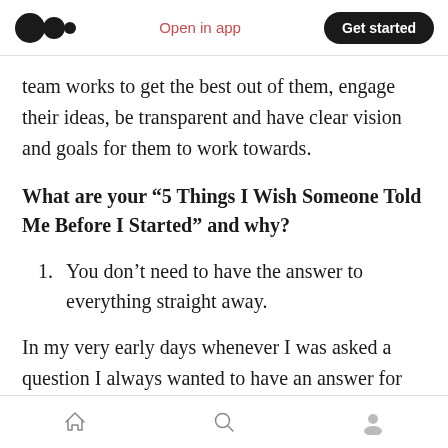Medium app header — Open in app | Get started
team works to get the best out of them, engage their ideas, be transparent and have clear vision and goals for them to work towards.
What are your “5 Things I Wish Someone Told Me Before I Started” and why?
1. You don’t need to have the answer to everything straight away.
In my very early days whenever I was asked a question I always wanted to have an answer for my boss and not ever have to say. “leave that
Home | Search | Profile